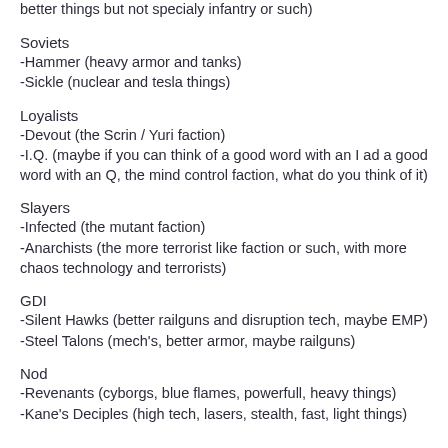better things but not specialy infantry or such)
Soviets
-Hammer (heavy armor and tanks)
-Sickle (nuclear and tesla things)
Loyalists
-Devout (the Scrin / Yuri faction)
-I.Q. (maybe if you can think of a good word with an I ad a good word with an Q, the mind control faction, what do you think of it)
Slayers
-Infected (the mutant faction)
-Anarchists (the more terrorist like faction or such, with more chaos technology and terrorists)
GDI
-Silent Hawks (better railguns and disruption tech, maybe EMP)
-Steel Talons (mech's, better armor, maybe railguns)
Nod
-Revenants (cyborgs, blue flames, powerfull, heavy things)
-Kane's Deciples (high tech, lasers, stealth, fast, light things)